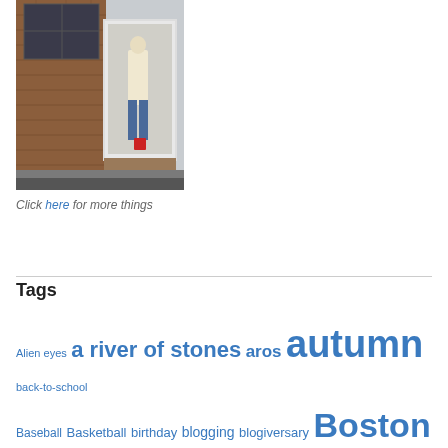[Figure (photo): Storefront with brick building exterior, white display window showing a mannequin dressed in a white top and blue jeans, with a red item near the base.]
Click here for more things
Tags
Alien eyes  a river of stones  aros  autumn  back-to-school  Baseball  Basketball  birthday  blogging  blogiversary  Boston  Boston College  Boston Marathon  Bruins  calendar  Cambridge